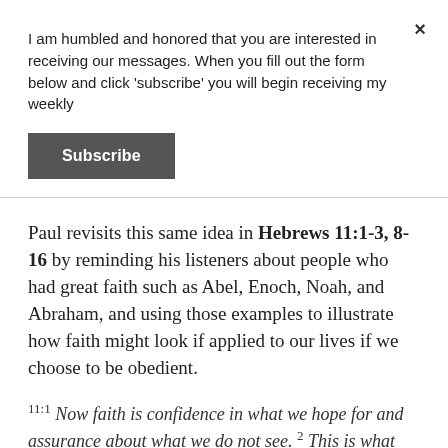I am humbled and honored that you are interested in receiving our messages. When you fill out the form below and click 'subscribe' you will begin receiving my weekly
Subscribe
Paul revisits this same idea in Hebrews 11:1-3, 8-16 by reminding his listeners about people who had great faith such as Abel, Enoch, Noah, and Abraham, and using those examples to illustrate how faith might look if applied to our lives if we choose to be obedient.
11:1 Now faith is confidence in what we hope for and assurance about what we do not see. 2 This is what the ancients were commended for.